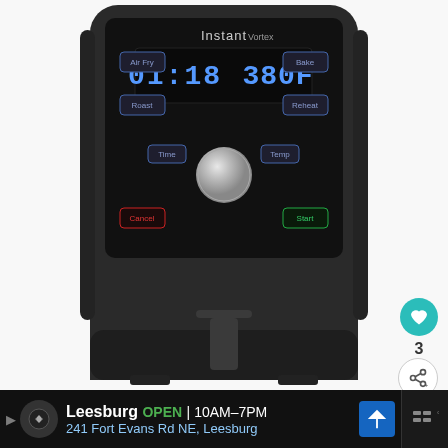[Figure (photo): Instant Vortex air fryer product photo showing front panel with digital display showing 01:18 and 380F, control buttons (Air Fry, Roast, Bake, Reheat, Time, Temp, Cancel, Start), a chrome dial knob, and the lower drawer section with pull handle. Social media icons (heart, share) on right side.]
Leesburg OPEN 10AM-7PM 241 Fort Evans Rd NE, Leesburg